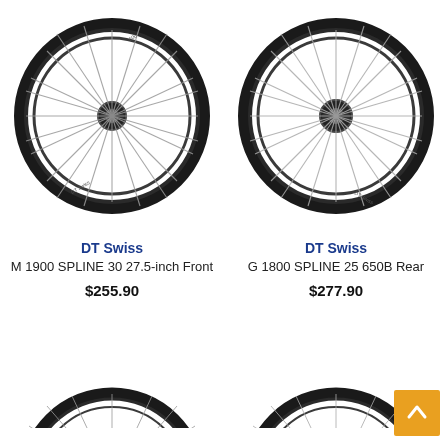[Figure (photo): DT Swiss M 1900 SPLINE 30 27.5-inch Front bicycle wheel with black rim and silver spokes]
DT Swiss
M 1900 SPLINE 30 27.5-inch Front
$255.90
[Figure (photo): DT Swiss G 1800 SPLINE 25 650B Rear bicycle wheel with black rim and silver spokes]
DT Swiss
G 1800 SPLINE 25 650B Rear
$277.90
[Figure (photo): Partial view of a bicycle wheel (bottom-left), cut off at bottom of page]
[Figure (photo): Partial view of a bicycle wheel (bottom-right), cut off at bottom of page]